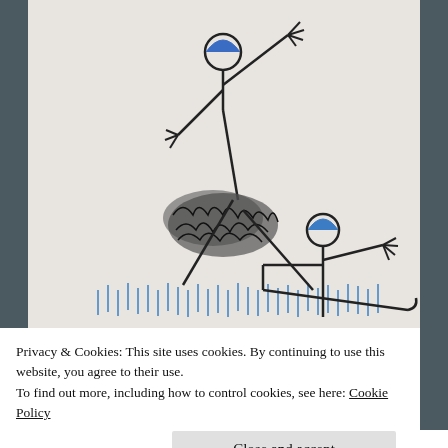[Figure (illustration): Child's hand-drawn pencil sketch on light grey paper showing two stick figures. The larger stick figure on the left has a blue circular head/helmet and outstretched arms, with a scribbled dark area at the body (possibly a bush or cloud). The smaller stick figure on the right also has a blue helmet and is in a crouching/skiing position. Blue crayon marks at the bottom of the scene suggest water or grass. The drawing appears to depict a skiing or sports scene.]
Privacy & Cookies: This site uses cookies. By continuing to use this website, you agree to their use.
To find out more, including how to control cookies, see here: Cookie Policy
Close and accept
Follow ...